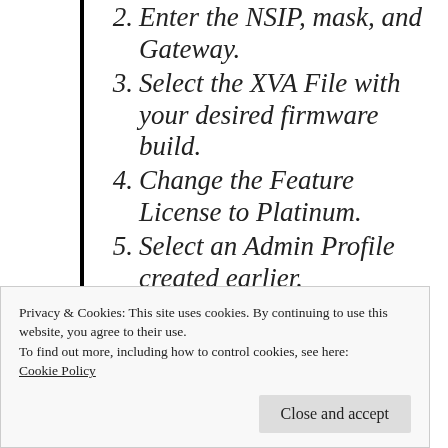2. Enter the NSIP, mask, and Gateway.
3. Select the XVA File with your desired firmware build.
4. Change the Feature License to Platinum.
5. Select an Admin Profile created earlier.
6. Enter a Description. Scroll down.
Privacy & Cookies: This site uses cookies. By continuing to use this website, you agree to their use.
To find out more, including how to control cookies, see here: Cookie Policy
Close and accept